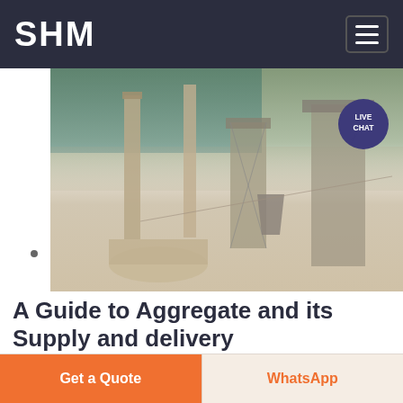SHM
[Figure (photo): Aerial view of a large aggregate/cement industrial plant with tall smokestacks, silos, conveyors and processing equipment, set against a wooded hillside and mountain backdrop.]
A Guide to Aggregate and its Supply and delivery
17 10 2016  Huge Haul Trucks to move the rock to jaw crusher By Rail We supply and transport all types of
Get a Quote
WhatsApp